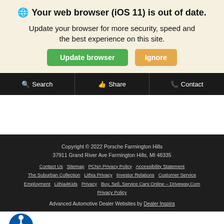🌐 Your web browser (iOS 11) is out of date.
Update your browser for more security, speed and the best experience on this site.
Update browser   Ignore
Search   Share   Contact
Copyright © 2022 Porsche Farmington Hills
37911 Grand River Ave Farmington Hills, MI 48335
Contact Us  Sitemap  PCNA Privacy Policy  Accessibility Statement
The Suburban Collection  Lithia Privacy  Investor Relations  Customer Service
Employment  Lithia4Kids  Privacy  Buy, Sell, Service Cars Online – Driveway.Com Privacy Policy
Advanced Automotive Dealer Websites by Dealer Inspira